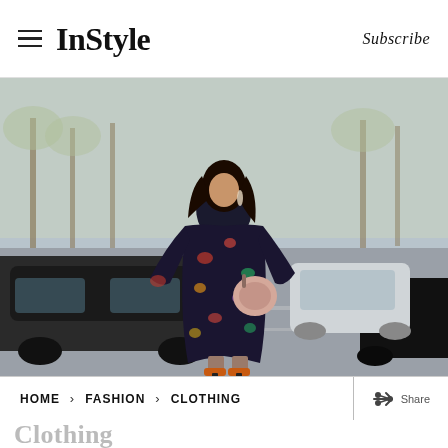InStyle   Subscribe
[Figure (photo): Street style photo of a woman in a dark floral dress with orange ankle boots, carrying a nude circular handbag, walking across a street in what appears to be Paris, with blurred cars and trees in the background.]
HOME > FASHION > CLOTHING
Clothing